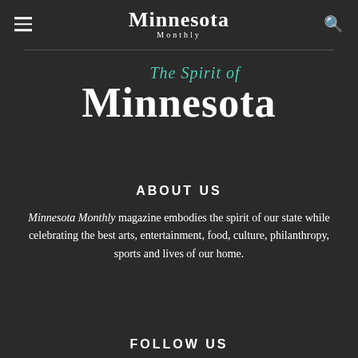Minnesota Monthly
[Figure (logo): The Spirit of Minnesota logo — italic teal cursive 'The Spirit of' above large bold white serif 'Minnesota']
ABOUT US
Minnesota Monthly magazine embodies the spirit of our state while celebrating the best arts, entertainment, food, culture, philanthropy, sports and lives of our home.
FOLLOW US